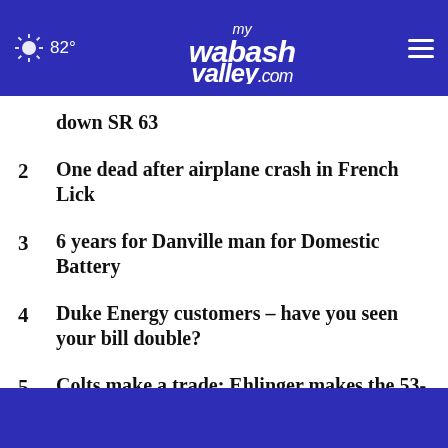82° mywabashvalley.com
down SR 63
2  One dead after airplane crash in French Lick
3  6 years for Danville man for Domestic Battery
4  Duke Energy customers – have you seen your bill double?
5  Colts make a trade; Ehlinger makes the 53-man roster, ...